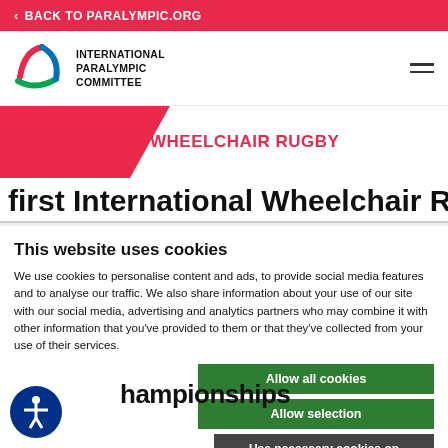< BACK TO PARALYMPIC.ORG
[Figure (logo): International Paralympic Committee logo with agitos symbol and text INTERNATIONAL PARALYMPIC COMMITTEE]
WHEELCHAIR RUGBY
first International Wheelchair Rugby
This website uses cookies
We use cookies to personalise content and ads, to provide social media features and to analyse our traffic. We also share information about your use of our site with our social media, advertising and analytics partners who may combine it with other information that you've provided to them or that they've collected from your use of their services.
Allow all cookies
Allow selection
Use necessary cookies on
Necessary  Preferences  Statistics  Marketing
Show details
hampionships